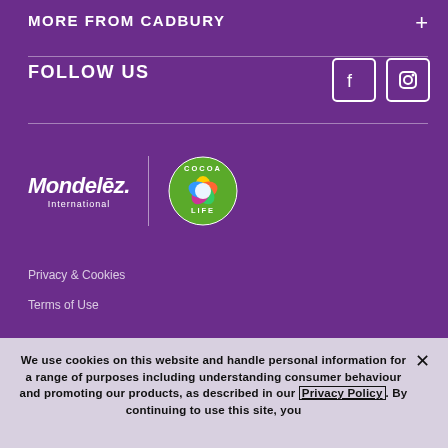MORE FROM CADBURY
FOLLOW US
[Figure (logo): Mondelez International logo and Cocoa Life circular badge logo]
Privacy & Cookies
Terms of Use
We use cookies on this website and handle personal information for a range of purposes including understanding consumer behaviour and promoting our products, as described in our Privacy Policy. By continuing to use this site, you